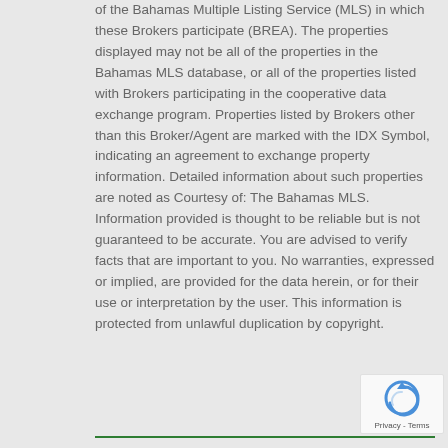of the Bahamas Multiple Listing Service (MLS) in which these Brokers participate (BREA). The properties displayed may not be all of the properties in the Bahamas MLS database, or all of the properties listed with Brokers participating in the cooperative data exchange program. Properties listed by Brokers other than this Broker/Agent are marked with the IDX Symbol, indicating an agreement to exchange property information. Detailed information about such properties are noted as Courtesy of: The Bahamas MLS. Information provided is thought to be reliable but is not guaranteed to be accurate. You are advised to verify facts that are important to you. No warranties, expressed or implied, are provided for the data herein, or for their use or interpretation by the user. This information is protected from unlawful duplication by copyright.
[Figure (logo): reCAPTCHA badge with logo and Privacy - Terms text]